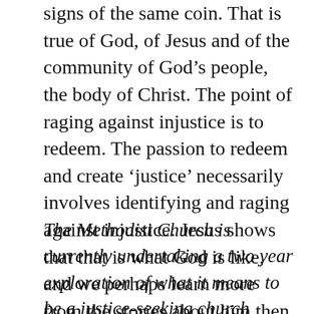signs of the same coin. That is true of God, of Jesus and of the community of God's people, the body of Christ. The point of raging against injustice is to redeem. The passion to redeem and create 'justice' necessarily involves identifying and raging against injustice. Jesus shows that that is what God is like, and we perhaps learn more from the stories about him then from sayings and statements.
The Methodist Church is currently undertaking a two year exploration of what it means to be a justice-seeking church through the Walking with Micah project.  Theology Everywhere is working in partnership with the project to host a series of articles about justice. For more information visit www.methodist.org.uk/walking-with-micah/